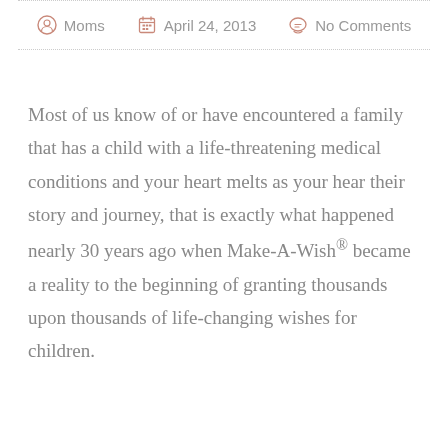Moms   April 24, 2013   No Comments
Most of us know of or have encountered a family that has a child with a life-threatening medical conditions and your heart melts as your hear their story and journey, that is exactly what happened nearly 30 years ago when Make-A-Wish® became a reality to the beginning of granting thousands upon thousands of life-changing wishes for children.